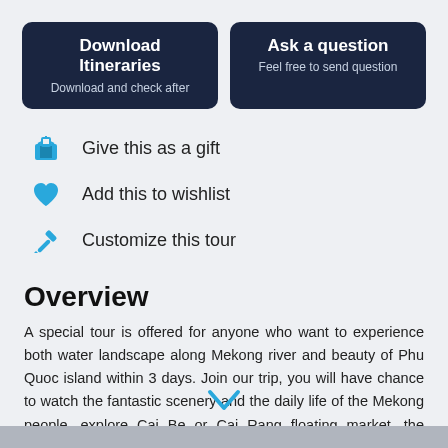Download Itineraries — Download and check after
Ask a question — Feel free to send question
Give this as a gift
Add this to wishlist
Customize this tour
Overview
A special tour is offered for anyone who want to experience both water landscape along Mekong river and beauty of Phu Quoc island within 3 days. Join our trip, you will have chance to watch the fantastic scenery and the daily life of the Mekong people, explore Cai Be or Cai Rang floating market, the region's busiest and most lively markets, and visit the pearl island. Let's join us …